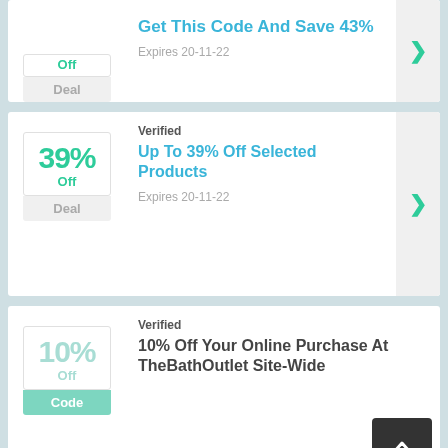Get This Code And Save 43% — Expires 20-11-22
Verified — Up To 39% Off Selected Products — Expires 20-11-22
Verified — 10% Off Your Online Purchase At TheBathOutlet Site-Wide
Verified